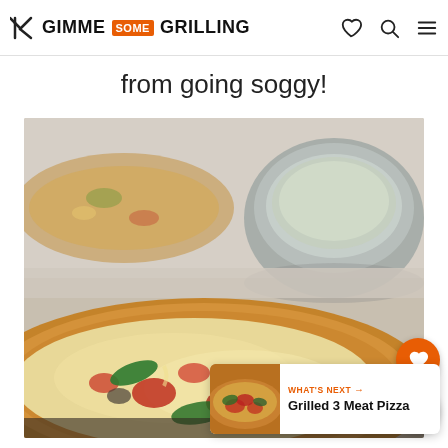GIMME SOME GRILLING
from going soggy!
[Figure (photo): Close-up food photography of a flatbread/pizza topped with tomatoes, fresh basil, and melted cheese, with a gray ceramic bowl of dip/sauce in the background. A second flatbread is partially visible in the upper left.]
WHAT'S NEXT → Grilled 3 Meat Pizza